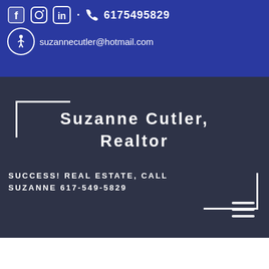6175495829 · suzannecutler@hotmail.com
Suzanne Cutler, Realtor
SUCCESS! REAL ESTATE, CALL SUZANNE 617-549-5829